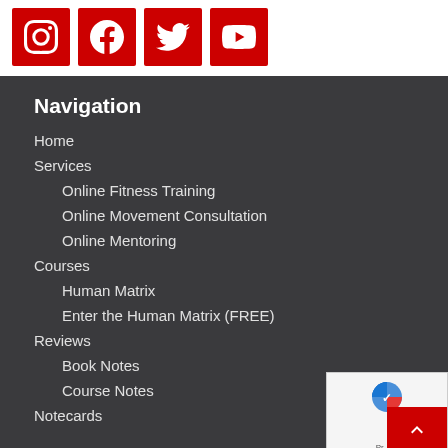[Figure (other): Social media icons row: Instagram, Facebook, Twitter, YouTube — white icons on red square backgrounds]
Navigation
Home
Services
Online Fitness Training
Online Movement Consultation
Online Mentoring
Courses
Human Matrix
Enter the Human Matrix (FREE)
Reviews
Book Notes
Course Notes
Notecards